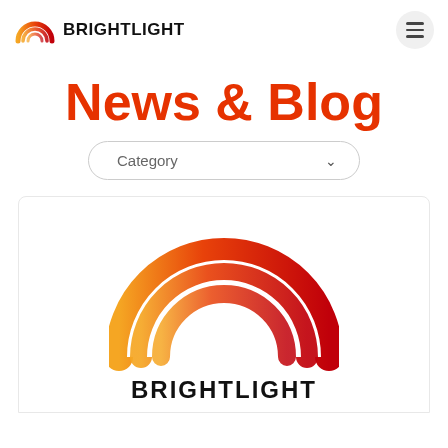[Figure (logo): Brightlight rainbow arc logo with text BRIGHTLIGHT in navbar]
News & Blog
Category (dropdown selector)
[Figure (logo): Large Brightlight rainbow logo with BRIGHTLIGHT text in card]